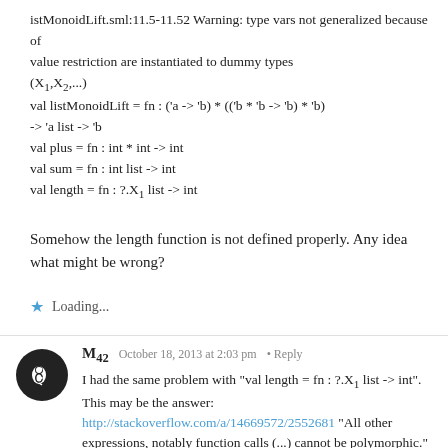istMonoidLift.sml:11.5-11.52 Warning: type vars not generalized because of value restriction are instantiated to dummy types (X1,X2,...)
val listMonoidLift = fn : ('a -> 'b) * (('b * 'b -> 'b) * 'b) -> 'a list -> 'b
val plus = fn : int * int -> int
val sum = fn : int list -> int
val length = fn : ?.X1 list -> int
Somehow the length function is not defined properly. Any idea what might be wrong?
Loading...
M42  October 18, 2013 at 2:03 pm · Reply
I had the same problem with "val length = fn : ?.X1 list -> int". This may be the answer: http://stackoverflow.com/a/14669572/2552681 "All other expressions, notably function calls (...) cannot be polymorphic."